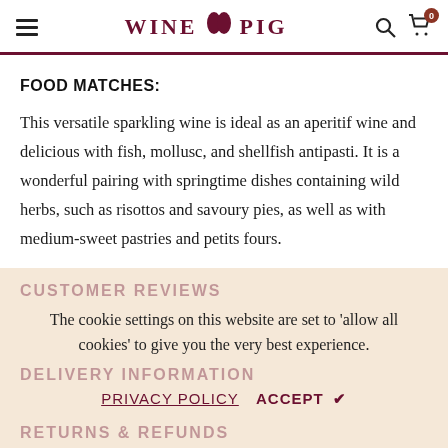WINE PIG
FOOD MATCHES:
This versatile sparkling wine is ideal as an aperitif wine and delicious with fish, mollusc, and shellfish antipasti. It is a wonderful pairing with springtime dishes containing wild herbs, such as risottos and savoury pies, as well as with medium-sweet pastries and petits fours.
CUSTOMER REVIEWS
The cookie settings on this website are set to 'allow all cookies' to give you the very best experience.
DELIVERY INFORMATION
PRIVACY POLICY   ACCEPT ✔
RETURNS & REFUNDS